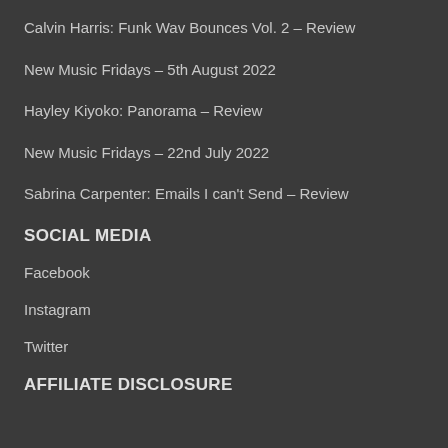Calvin Harris: Funk Wav Bounces Vol. 2 – Review
New Music Fridays – 5th August 2022
Hayley Kiyoko: Panorama – Review
New Music Fridays – 22nd July 2022
Sabrina Carpenter: Emails I can't Send – Review
SOCIAL MEDIA
Facebook
Instagram
Twitter
AFFILIATE DISCLOSURE